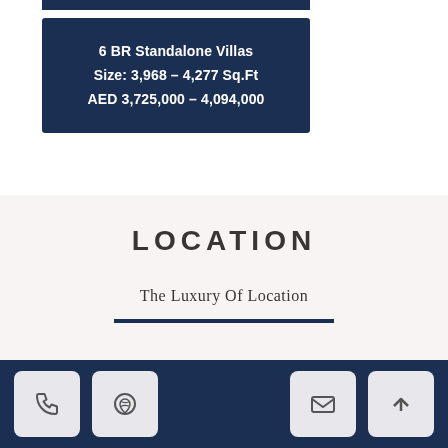6 BR Standalone Villas
Size: 3,968 – 4,277 Sq.Ft
AED 3,725,000 – 4,094,000
LOCATION
The Luxury Of Location